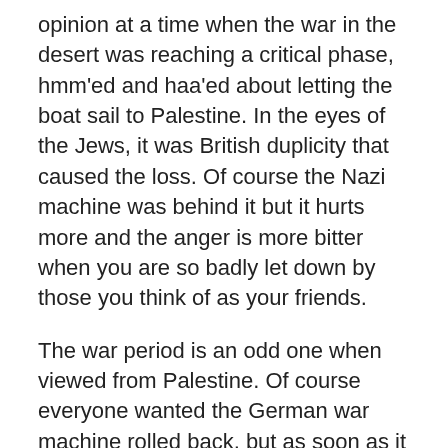opinion at a time when the war in the desert was reaching a critical phase, hmm'ed and haa'ed about letting the boat sail to Palestine. In the eyes of the Jews, it was British duplicity that caused the loss. Of course the Nazi machine was behind it but it hurts more and the anger is more bitter when you are so badly let down by those you think of as your friends.
The war period is an odd one when viewed from Palestine. Of course everyone wanted the German war machine rolled back, but as soon as it was, the two opposing faction, neither of whom trusted the British wanted to be ready to both defend themselves and, now, take the fight to the British. The Haganah had been formed as essentially a Jewish defensive force and, in part, was armed during the War by the British. But by 1945 they were seen more as fomenting terrorism. Behind their quasi